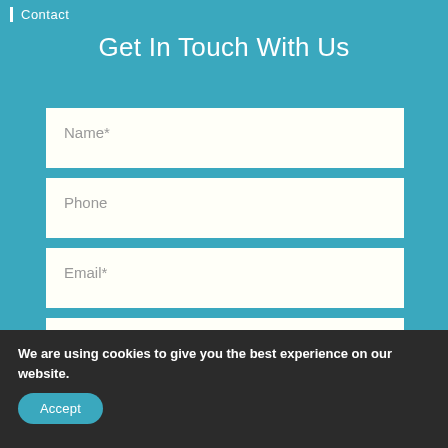Contact
Get In Touch With Us
Name*
Phone
Email*
Message
We are using cookies to give you the best experience on our website.
Accept